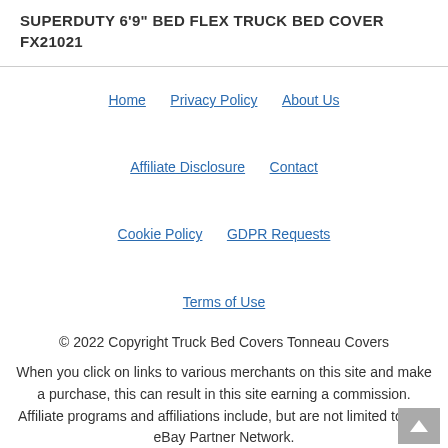SUPERDUTY 6'9" BED FLEX TRUCK BED COVER FX21021
Home | Privacy Policy | About Us | Affiliate Disclosure | Contact | Cookie Policy | GDPR Requests | Terms of Use
© 2022 Copyright Truck Bed Covers Tonneau Covers
When you click on links to various merchants on this site and make a purchase, this can result in this site earning a commission. Affiliate programs and affiliations include, but are not limited to, the eBay Partner Network.